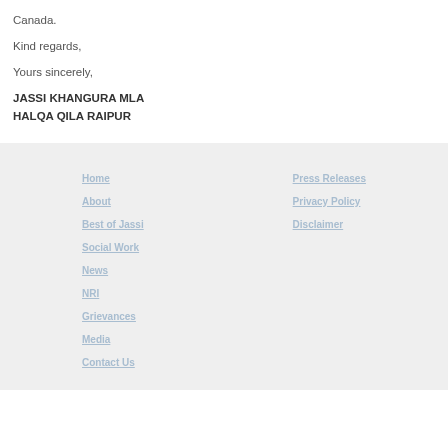Canada.
Kind regards,
Yours sincerely,
JASSI KHANGURA MLA
HALQA QILA RAIPUR
Home
About
Best of Jassi
Social Work
News
NRI
Grievances
Media
Contact Us
Press Releases
Privacy Policy
Disclaimer